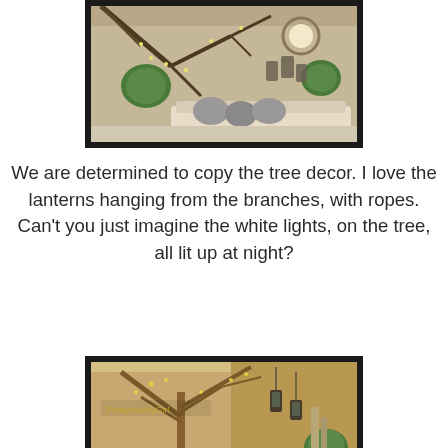[Figure (photo): Outdoor patio scene with bare/decorated tree branches hanging over a seating area with grey cushions and white sofa. Green topiary balls and tall metallic lanterns visible. Warm atmospheric lighting.]
We are determined to copy the tree decor. I love the lanterns hanging from the branches, with ropes. Can't you just imagine the white lights, on the tree, all lit up at night?
[Figure (photo): Outdoor courtyard with a large bare tree decorated with string lights and small hanging lanterns. Adobe/stucco walls in background, green topiary ball visible at lower right. Warm golden light.]